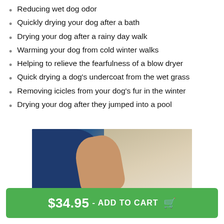Reducing wet dog odor
Quickly drying your dog after a bath
Drying your dog after a rainy day walk
Warming your dog from cold winter walks
Helping to relieve the fearfulness of a blow dryer
Quick drying a dog's undercoat from the wet grass
Removing icicles from your dog's fur in the winter
Drying your dog after they jumped into a pool
[Figure (photo): Person in blue shirt with arm visible, light background]
$34.95 - ADD TO CART